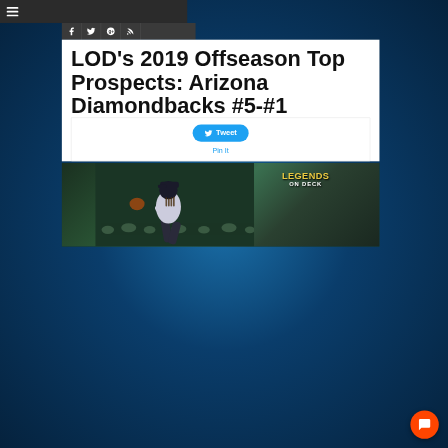Menu / Navigation bar
LOD's 2019 Offseason Top Prospects: Arizona Diamondbacks #5-#1
Tweet   Pin It
[Figure (photo): Baseball pitcher throwing a pitch at night game, with Legends on Deck logo overlay in top right corner]